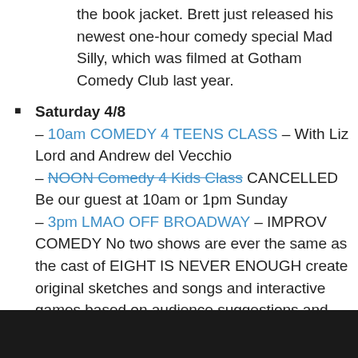the book jacket. Brett just released his newest one-hour comedy special Mad Silly, which was filmed at Gotham Comedy Club last year.
Saturday 4/8
– 10am COMEDY 4 TEENS CLASS – With Liz Lord and Andrew del Vecchio
– NOON Comedy 4 Kids Class CANCELLED Be our guest at 10am or 1pm Sunday
– 3pm LMAO OFF BROADWAY – IMPROV COMEDY No two shows are ever the same as the cast of EIGHT IS NEVER ENOUGH create original sketches and songs and interactive games based on audience suggestions and participation. $25 plus 1 drink minimum All Ages Welcome (AKA Improv 4 Kids). CLICK HERE for $10 exclusive online discount tickets
[Figure (photo): Dark photo strip at the bottom of the page]